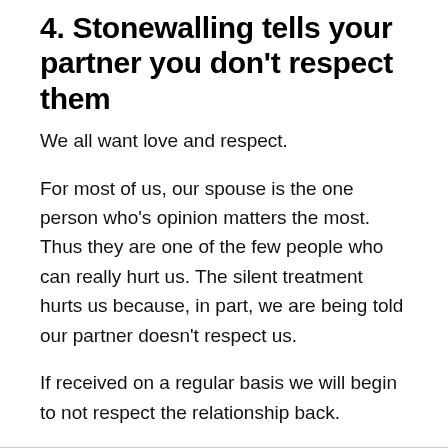4. Stonewalling tells your partner you don't respect them
We all want love and respect.
For most of us, our spouse is the one person who's opinion matters the most.  Thus they are one of the few people who can really hurt us. The silent treatment hurts us because, in part, we are being told our partner doesn't respect us.
If received on a regular basis we will begin to not respect the relationship back.